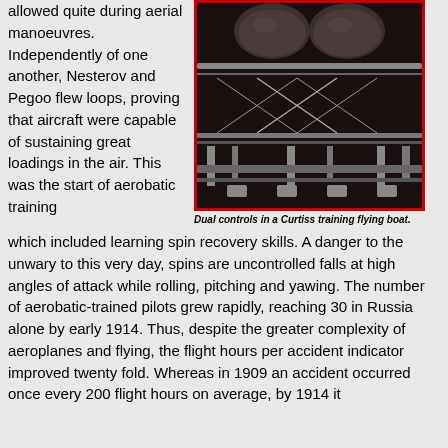allowed quite during aerial manoeuvres. Independently of one another, Nesterov and Pegoo flew loops, proving that aircraft were capable of sustaining great loadings in the air. This was the start of aerobatic training
[Figure (photo): Black and white photograph showing dual controls in a Curtiss training flying boat, with mechanical components and cross-wire structures visible]
Dual controls in a Curtiss training flying boat.
which included learning spin recovery skills. A danger to the unwary to this very day, spins are uncontrolled falls at high angles of attack while rolling, pitching and yawing. The number of aerobatic-trained pilots grew rapidly, reaching 30 in Russia alone by early 1914. Thus, despite the greater complexity of aeroplanes and flying, the flight hours per accident indicator improved twenty fold. Whereas in 1909 an accident occurred once every 200 flight hours on average, by 1914 it